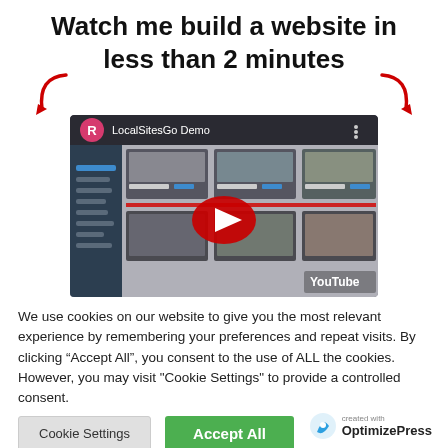Watch me build a website in less than 2 minutes
[Figure (screenshot): YouTube video thumbnail showing 'LocalSitesGo Demo' with a pink avatar with 'R', the YouTube play button overlay, and a website builder interface in the background.]
We use cookies on our website to give you the most relevant experience by remembering your preferences and repeat visits. By clicking “Accept All”, you consent to the use of ALL the cookies. However, you may visit "Cookie Settings" to provide a controlled consent.
Cookie Settings  Accept All